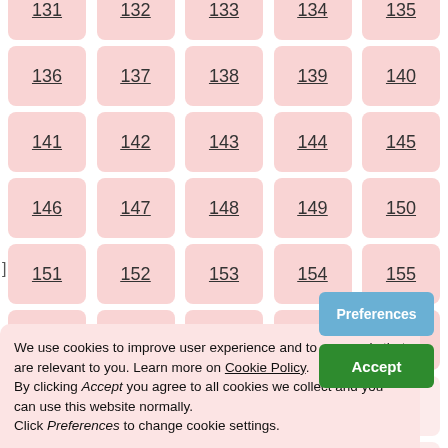131 132 133 134 135
136 137 138 139 140
141 142 143 144 145
146 147 148 149 150
151 152 153 154 155
156 157 158 159 160
161 162 163 164 165
166 167 168 169 170
We use cookies to improve user experience and to serve ads that are relevant to you. Learn more on Cookie Policy. By clicking Accept you agree to all cookies we collect and you can use this website normally. Click Preferences to change cookie settings.